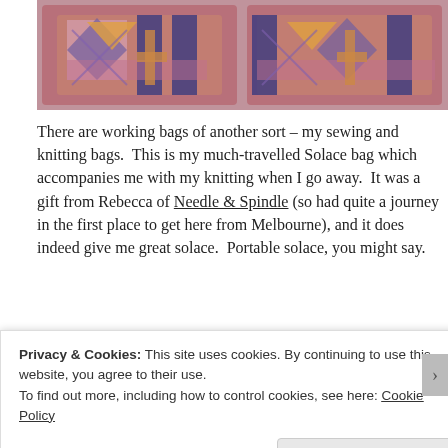[Figure (photo): Two embroidered bags with colorful geometric patterns in pink, blue, and gold on a light background]
There are working bags of another sort – my sewing and knitting bags.  This is my much-travelled Solace bag which accompanies me with my knitting when I go away.  It was a gift from Rebecca of Needle & Spindle (so had quite a journey in the first place to get here from Melbourne), and it does indeed give me great solace.  Portable solace, you might say.
[Figure (photo): Partial photo visible at bottom of page, grey-blue tones]
Privacy & Cookies: This site uses cookies. By continuing to use this website, you agree to their use.
To find out more, including how to control cookies, see here: Cookie Policy
Close and accept